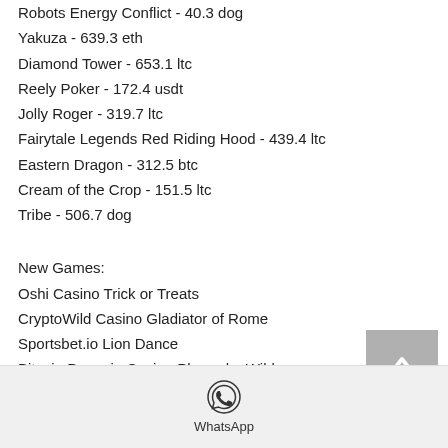Robots Energy Conflict - 40.3 dog
Yakuza - 639.3 eth
Diamond Tower - 653.1 ltc
Reely Poker - 172.4 usdt
Jolly Roger - 319.7 ltc
Fairytale Legends Red Riding Hood - 439.4 ltc
Eastern Dragon - 312.5 btc
Cream of the Crop - 151.5 ltc
Tribe - 506.7 dog
New Games:
Oshi Casino Trick or Treats
CryptoWild Casino Gladiator of Rome
Sportsbet.io Lion Dance
Bitcoin Penguin Casino Pharaohs Wild
mBTC free bet Age of the Gods Fate Sisters
OneHash Cash Cave
[Figure (other): WhatsApp icon and label in a footer bar]